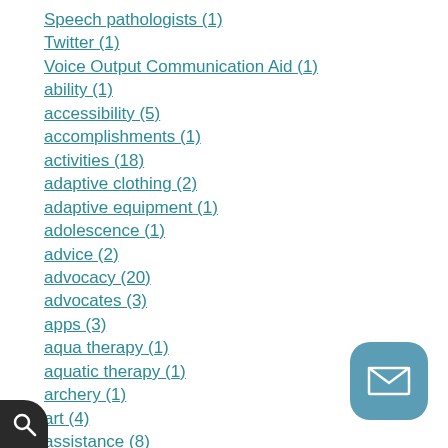Speech pathologists (1)
Twitter (1)
Voice Output Communication Aid (1)
ability (1)
accessibility (5)
accomplishments (1)
activities (18)
adaptive clothing (2)
adaptive equipment (1)
adolescence (1)
advice (2)
advocacy (20)
advocates (3)
apps (3)
aqua therapy (1)
aquatic therapy (1)
archery (1)
art (4)
assistance (8)